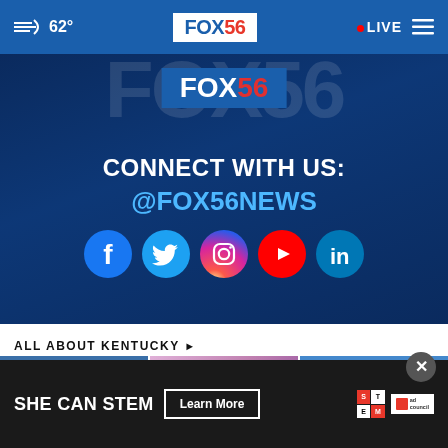62° FOX56 LIVE
[Figure (photo): FOX56 News social media promotion graphic showing 'CONNECT WITH US: @FOX56NEWS' with Facebook, Twitter, Instagram, YouTube, and LinkedIn icons over a blue city aerial background]
ALL ABOUT KENTUCKY ▸
[Figure (photo): Three news thumbnails for All About Kentucky section]
[Figure (other): SHE CAN STEM advertisement banner with 'Learn More' button, STEM logo, and Ad Council logo]